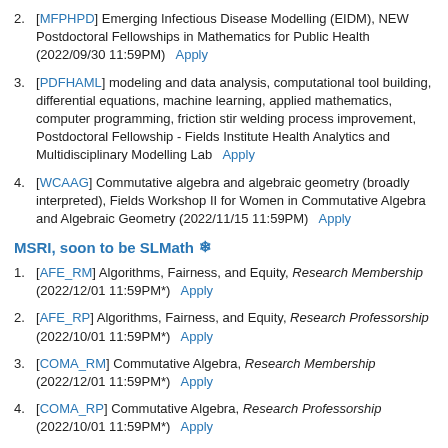[MFPHPD] Emerging Infectious Disease Modelling (EIDM), NEW Postdoctoral Fellowships in Mathematics for Public Health (2022/09/30 11:59PM)   Apply
[PDFHAML] modeling and data analysis, computational tool building, differential equations, machine learning, applied mathematics, computer programming, friction stir welding process improvement, Postdoctoral Fellowship - Fields Institute Health Analytics and Multidisciplinary Modelling Lab   Apply
[WCAAG] Commutative algebra and algebraic geometry (broadly interpreted), Fields Workshop II for Women in Commutative Algebra and Algebraic Geometry (2022/11/15 11:59PM)   Apply
MSRI, soon to be SLMath ❄
[AFE_RM] Algorithms, Fairness, and Equity, Research Membership (2022/12/01 11:59PM*)   Apply
[AFE_RP] Algorithms, Fairness, and Equity, Research Professorship (2022/10/01 11:59PM*)   Apply
[COMA_RM] Commutative Algebra, Research Membership (2022/12/01 11:59PM*)   Apply
[COMA_RP] Commutative Algebra, Research Professorship (2022/10/01 11:59PM*)   Apply
[CP_RM] Complementary Program 2023-24, Research Membership (2022/12/01 11:59PM*)   Apply
[MCS_RM] Mathematics and Computer Science of Market and Mechanism Design, Research Membership (2022/12/01 ...